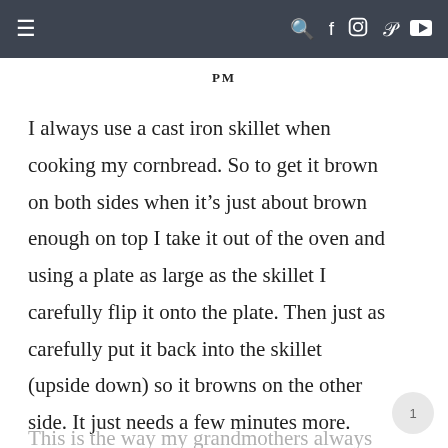≡  [navigation icons: search, facebook, instagram, pinterest, youtube]
PM
I always use a cast iron skillet when cooking my cornbread. So to get it brown on both sides when it's just about brown enough on top I take it out of the oven and using a plate as large as the skillet I carefully flip it onto the plate. Then just as carefully put it back into the skillet (upside down) so it browns on the other side. It just needs a few minutes more.
This is the way my grandmothers always did it! Love those crispy